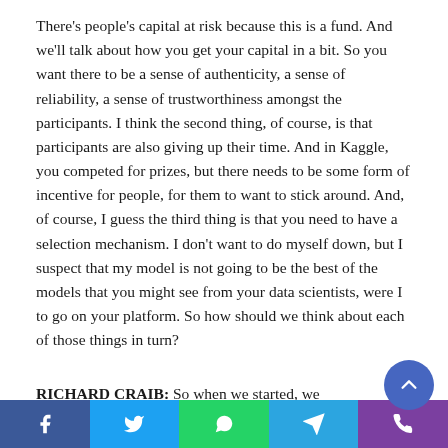There's people's capital at risk because this is a fund. And we'll talk about how you get your capital in a bit. So you want there to be a sense of authenticity, a sense of reliability, a sense of trustworthiness amongst the participants. I think the second thing, of course, is that participants are also giving up their time. And in Kaggle, you competed for prizes, but there needs to be some form of incentive for people, for them to want to stick around. And, of course, I guess the third thing is that you need to have a selection mechanism. I don't want to do myself down, but I suspect that my model is not going to be the best of the models that you might see from your data scientists, were I to go on your platform. So how should we think about each of those things in turn?
RICHARD CRAIB: So when we started, we actually started paying people in Bitcoin, $400 Bitcoin.
[Figure (other): Social sharing bar at the bottom with Facebook, Twitter, WhatsApp, Telegram, and phone icons]